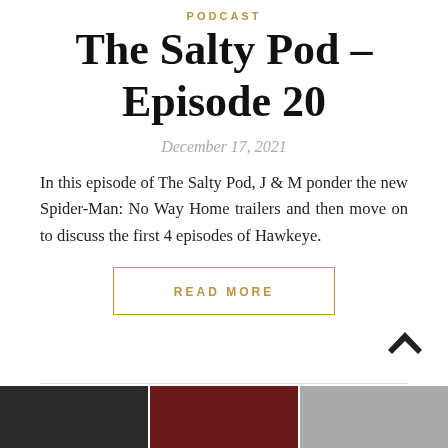PODCAST
The Salty Pod – Episode 20
December 17, 2021
In this episode of The Salty Pod, J & M ponder the new Spider-Man: No Way Home trailers and then move on to discuss the first 4 episodes of Hawkeye.
READ MORE
[Figure (photo): Three thumbnail images at the bottom of the page showing dark/action scenes]